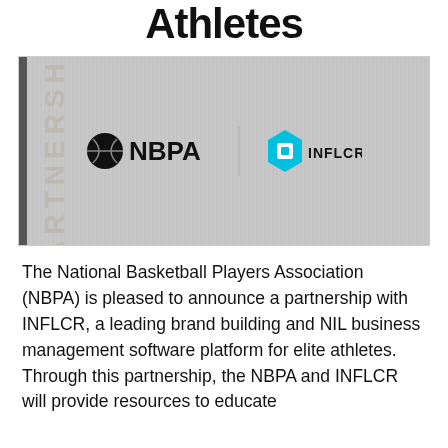Athletes
[Figure (photo): NBPA and INFLCR partnership logo banner on a light gray textured background with 'PARTNERSHIP' text vertically on the left side. NBPA logo on left and INFLCR logo (cyan hexagon with square) on right with a vertical divider.]
The National Basketball Players Association (NBPA) is pleased to announce a partnership with INFLCR, a leading brand building and NIL business management software platform for elite athletes. Through this partnership, the NBPA and INFLCR will provide resources to educate